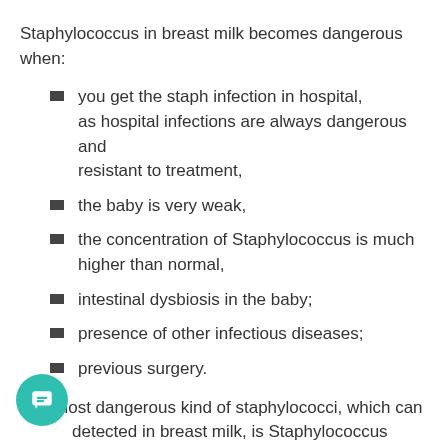Staphylococcus in breast milk becomes dangerous when:
you get the staph infection in hospital, as hospital infections are always dangerous and resistant to treatment,
the baby is very weak,
the concentration of Staphylococcus is much higher than normal,
intestinal dysbiosis in the baby;
presence of other infectious diseases;
previous surgery.
The most dangerous kind of staphylococci, which can be detected in breast milk, is Staphylococcus Aureus. got the name thanks to its distinctive characteristic — golden color. The bacterium